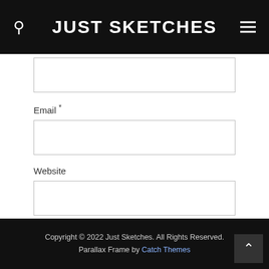JUST SKETCHES
[Figure (screenshot): Name input field (partially visible at top)]
Email *
[Figure (screenshot): Email input field]
Website
[Figure (screenshot): Website input field]
Post Comment
Copyright © 2022 Just Sketches. All Rights Reserved. Parallax Frame by Catch Themes